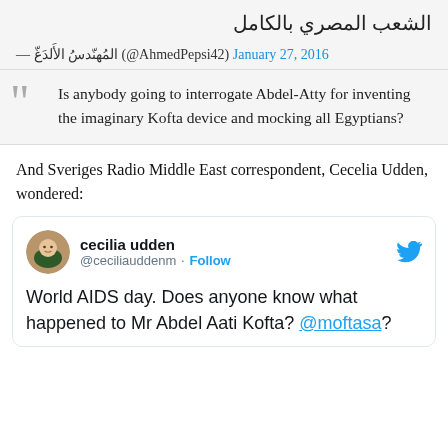الشعب المصري بالكامل
— المُهنّدسُ الأَلدَغّ (@AhmedPepsi42) January 27, 2016
Is anybody going to interrogate Abdel-Atty for inventing the imaginary Kofta device and mocking all Egyptians?
And Sveriges Radio Middle East correspondent, Cecelia Udden, wondered:
[Figure (screenshot): Tweet from cecilia udden (@ceciliauddenm) with Follow button and Twitter bird icon. Tweet text: 'World AIDS day. Does anyone know what happened to Mr Abdel Aati Kofta? @moftasa?']